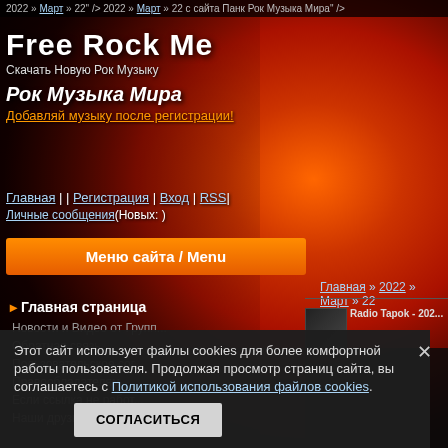2022 » Март » 22" /> 2022 » Март » 22 с сайта Панк Рок Музыка Мира" />
Free Rock Me
Скачать Новую Рок Музыку
Рок Музыка Мира
Добавляй музыку после регистрации!
Главная | | Регистрация | Вход | RSS|
Личные сообщения(Новых: )
Меню сайта / Menu
Главная » 2022 » Март » 22
Главная страница
Новости и Видео от Групп...
Обратная связь
Пользовательское сог...
Правообладателям
Если ссылка не работ...
Наши друзья
[Figure (screenshot): Partial thumbnail of Radio Tapok article]
Radio Tapok - 202... Насле...
Этот сайт использует файлы cookies для более комфортной работы пользователя. Продолжая просмотр страниц сайта, вы соглашаетесь с Политикой использования файлов cookies.
СОГЛАСИТЬСЯ